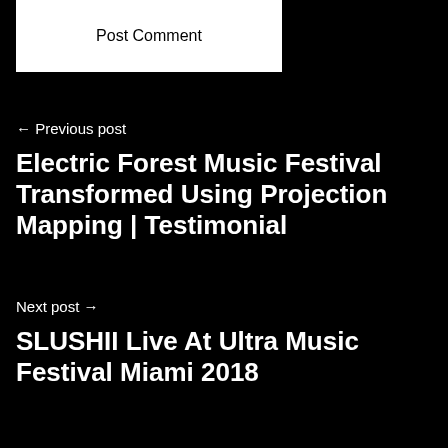Post Comment
← Previous post
Electric Forest Music Festival Transformed Using Projection Mapping | Testimonial
Next post →
SLUSHII Live At Ultra Music Festival Miami 2018